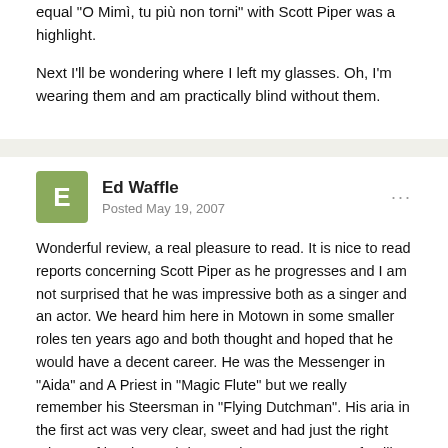equal "O Mimì, tu più non torni" with Scott Piper was a highlight.
Next I'll be wondering where I left my glasses. Oh, I'm wearing them and am practically blind without them.
Ed Waffle
Posted May 19, 2007
Wonderful review, a real pleasure to read. It is nice to read reports concerning Scott Piper as he progresses and I am not surprised that he was impressive both as a singer and an actor. We heard him here in Motown in some smaller roles ten years ago and both thought and hoped that he would have a decent career. He was the Messenger in “Aida” and A Priest in “Magic Flute” but we really remember his Steersman in “Flying Dutchman”. His aria in the first act was very clear, sweet and had just the right mixture of longing and desperation. We were very familiar with him since my wife had subscriptions to both Saturday night and Sunday matinee. I went by myself twice more in the week that the Dutchman dropped anchor here.